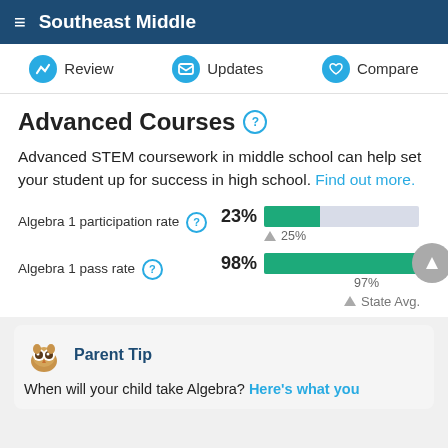Southeast Middle
Review   Updates   Compare
Advanced Courses
Advanced STEM coursework in middle school can help set your student up for success in high school. Find out more.
[Figure (bar-chart): Algebra 1 participation rate vs State Avg]
[Figure (bar-chart): Algebra 1 pass rate vs State Avg]
▲ State Avg.
Parent Tip
When will your child take Algebra? Here's what you